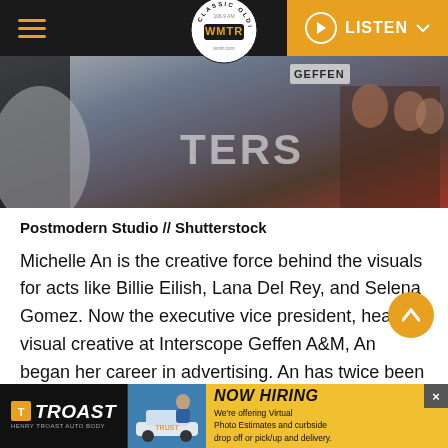WMTR Classic Oldies — LISTEN
[Figure (photo): Photo of event or press gathering with GEFFEN signage visible and people in background, blurred/stylized]
Postmodern Studio // Shutterstock
Michelle An is the creative force behind the visuals for acts like Billie Eilish, Lana Del Rey, and Selena Gomez. Now the executive vice president, head of visual creative at Interscope Geffen A&M, An began her career in advertising. An has twice been named to
TROAST — Henry Troast Auto Body | NOW HIRING — We're offering Virtual Photo Estimates and curbside drop off or pick up and delivery.